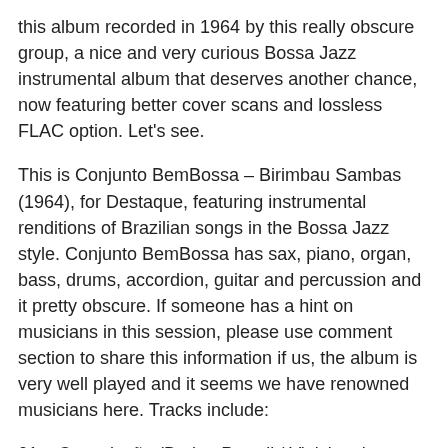this album recorded in 1964 by this really obscure group, a nice and very curious Bossa Jazz instrumental album that deserves another chance, now featuring better cover scans and lossless FLAC option. Let's see.
This is Conjunto BemBossa – Birimbau Sambas (1964), for Destaque, featuring instrumental renditions of Brazilian songs in the Bossa Jazz style. Conjunto BemBossa has sax, piano, organ, bass, drums, accordion, guitar and percussion and it pretty obscure. If someone has a hint on musicians in this session, please use comment section to share this information if us, the album is very well played and it seems we have renowned musicians here. Tracks include:
01 – Consolação (Baden Powell / Vinicius de Moraes)
02 – A Canção Que Virou Você (Luis Antônio)